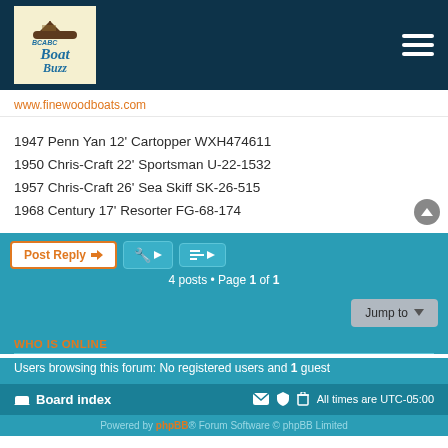BCABC Boat Buzz — forum header with logo and navigation menu
www.finewoodboats.com
1947 Penn Yan 12' Cartopper WXH474611
1950 Chris-Craft 22' Sportsman U-22-1532
1957 Chris-Craft 26' Sea Skiff SK-26-515
1968 Century 17' Resorter FG-68-174
Post Reply | tool buttons
4 posts • Page 1 of 1
Jump to
WHO IS ONLINE
Users browsing this forum: No registered users and 1 guest
Board index  |  All times are UTC-05:00  |  Powered by phpBB® Forum Software © phpBB Limited